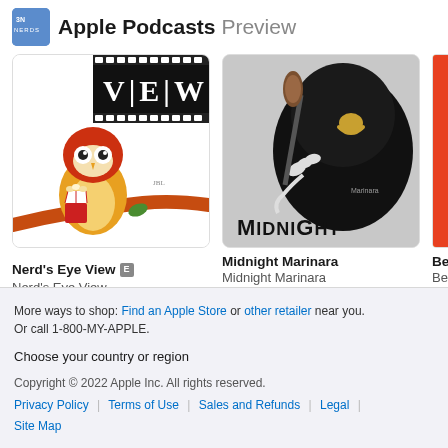Apple Podcasts Preview
[Figure (illustration): Nerd's Eye View podcast artwork - cartoon red owl on a branch holding popcorn with VIEW film strip logo]
Nerd's Eye View [E]
Nerd's Eye View
[Figure (illustration): Midnight Marinara podcast artwork - dark hooded figure holding a makeup brush with Midnight text]
Midnight Marinara
Midnight Marinara
[Figure (illustration): Partial third podcast artwork - yellow/red colors visible]
Be
Be
More ways to shop: Find an Apple Store or other retailer near you.
Or call 1-800-MY-APPLE.
Choose your country or region
Copyright © 2022 Apple Inc. All rights reserved.
Privacy Policy | Terms of Use | Sales and Refunds | Legal | Site Map